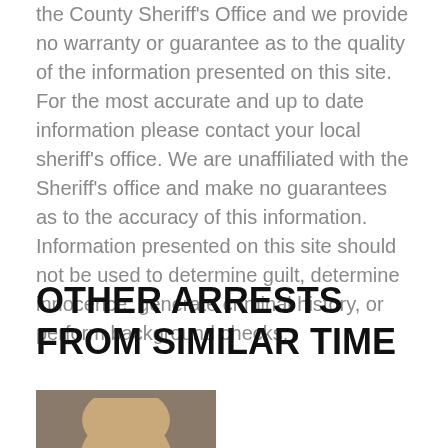the County Sheriff's Office and we provide no warranty or guarantee as to the quality of the information presented on this site. For the most accurate and up to date information please contact your local sheriff's office. We are unaffiliated with the Sheriff's office and make no guarantees as to the accuracy of this information. Information presented on this site should not be used to determine guilt, determine innocence, generate criminal history, or perform background checks.
OTHER ARRESTS FROM SIMILAR TIME
[Figure (photo): Partial mugshot photo of a person, cropped at bottom of page]